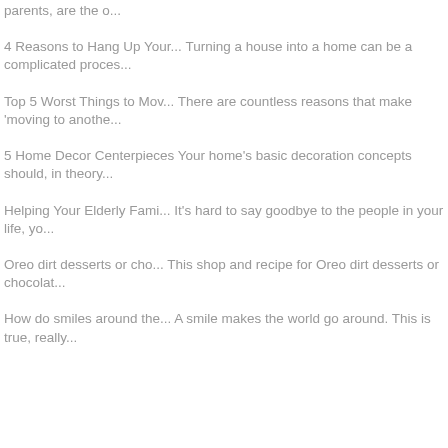parents, are the o...
4 Reasons to Hang Up Your... Turning a house into a home can be a complicated proces...
Top 5 Worst Things to Mov... There are countless reasons that make 'moving to anothe...
5 Home Decor Centerpieces Your home's basic decoration concepts should, in theory...
Helping Your Elderly Fami... It's hard to say goodbye to the people in your life, yo...
Oreo dirt desserts or cho... This shop and recipe for Oreo dirt desserts or chocolat...
How do smiles around the... A smile makes the world go around. This is true, really...
...